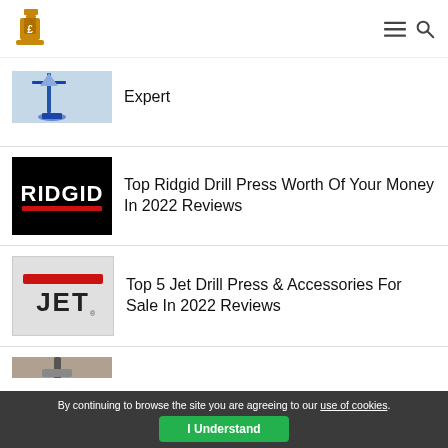Logo and navigation
Expert
Top Ridgid Drill Press Worth Of Your Money In 2022 Reviews
Top 5 Jet Drill Press & Accessories For Sale In 2022 Reviews
15 Best Rated Drill Press For Sale In 2022 [Reviews
By continuing to browse the site you are agreeing to our use of cookies.